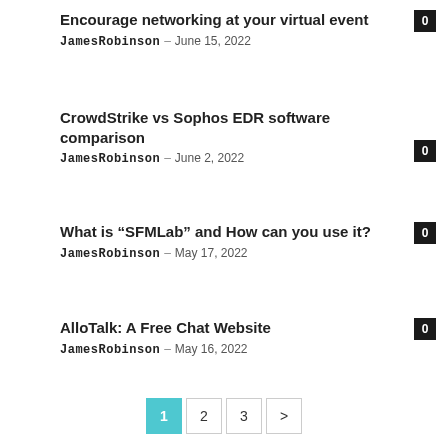Encourage networking at your virtual event
JamesRobinson – June 15, 2022   0
CrowdStrike vs Sophos EDR software comparison
JamesRobinson – June 2, 2022   0
What is “SFMLab” and How can you use it?
JamesRobinson – May 17, 2022   0
AlloTalk: A Free Chat Website
JamesRobinson – May 16, 2022   0
1  2  3  >